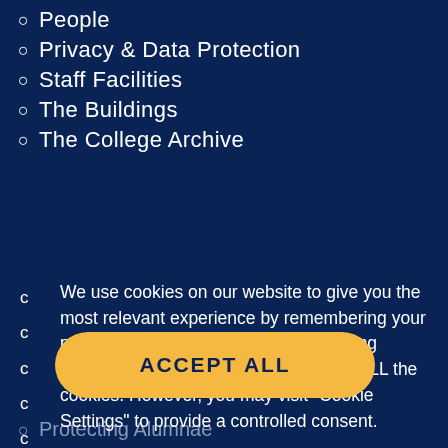People
Privacy & Data Protection
Staff Facilities
The Buildings
The College Archive
We use cookies on our website to give you the most relevant experience by remembering your preferences and repeat visits. By clicking “Accept All”, you consent to the use of ALL the cookies. However, you may visit "Cookie Settings" to provide a controlled consent.
Cookie Settings
ACCEPT ALL
Protecting Alumnae